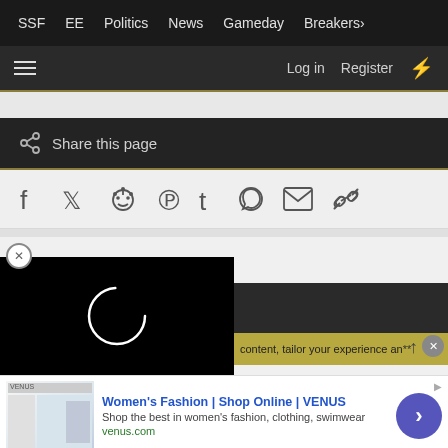SSF   EE   Politics   News   Gameday   Breakers
Log in   Register
[Figure (screenshot): Share this page social bar with Facebook, Twitter, Reddit, Pinterest, Tumblr, WhatsApp, Email, Link icons]
[Figure (screenshot): Video player loading spinner on black background with content banner showing 'content, tailor your experience an']
[Figure (screenshot): Advertisement: Women's Fashion | Shop Online | VENUS - Shop the best in women's fashion, clothing, swimwear - venus.com]